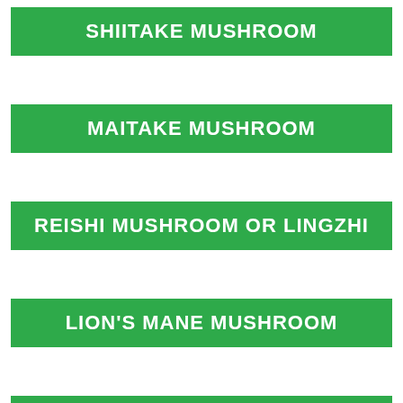SHIITAKE MUSHROOM
MAITAKE MUSHROOM
REISHI MUSHROOM OR LINGZHI
LION'S MANE MUSHROOM
GIANT PUFFBALL MUSHROOM